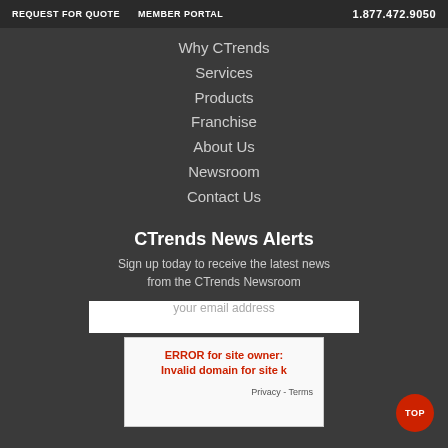REQUEST FOR QUOTE   MEMBER PORTAL   1.877.472.9050
Why CTrends
Services
Products
Franchise
About Us
Newsroom
Contact Us
CTrends News Alerts
Sign up today to receive the latest news from the CTrends Newsroom
your email address
ERROR for site owner: Invalid domain for site k   Privacy - Terms